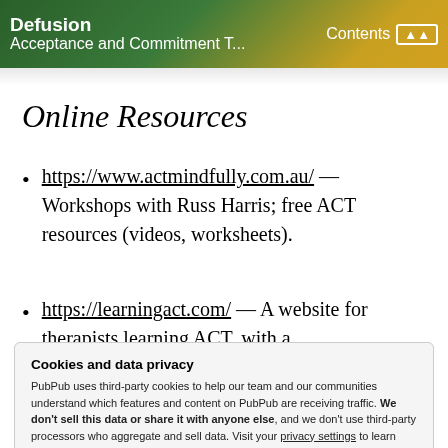Defusion | Acceptance and Commitment T... | Contents
Online Resources
https://www.actmindfully.com.au/ — Workshops with Russ Harris; free ACT resources (videos, worksheets).
https://learningact.com/ — A website for therapists learning ACT, with a
Cookies and data privacy
PubPub uses third-party cookies to help our team and our communities understand which features and content on PubPub are receiving traffic. We don't sell this data or share it with anyone else, and we don't use third-party processors who aggregate and sell data. Visit your privacy settings to learn more.
introduction to RET